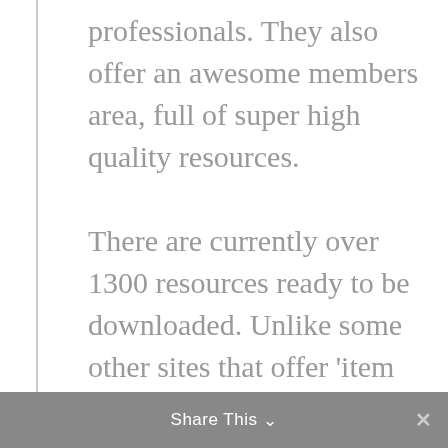professionals. They also offer an awesome members area, full of super high quality resources.

There are currently over 1300 resources ready to be downloaded. Unlike some other sites that offer 'item bloat', FanExtra has high quality control standards, and only offers the highest quality designer files
Share This ∨  ✕